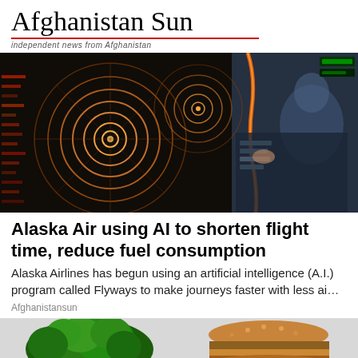Afghanistan Sun — Independent news from Afghanistan
[Figure (photo): A person examining a radar screen with glowing orange/yellow concentric rings on a dark background, with illuminated control panels visible]
Alaska Air using AI to shorten flight time, reduce fuel consumption
Alaska Airlines has begun using an artificial intelligence (A.I.) program called Flyways to make journeys faster with less ai…
Afghanistansun
[Figure (photo): Split image showing broccoli/green vegetables on the left and a burger/sandwich on the right]